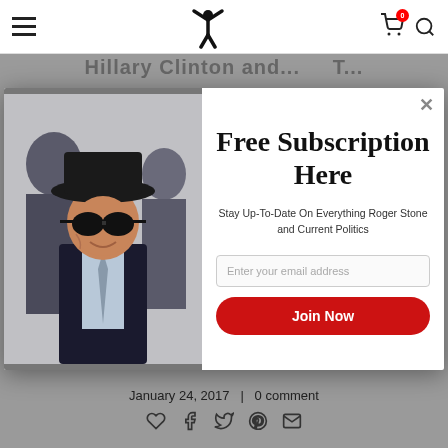Navigation bar with hamburger menu, logo (figure with arms raised), cart icon (0 items), and search icon
Hillary Clinton and... [partially visible headline]
[Figure (photo): Man wearing black fedora hat, dark round sunglasses, dark coat and tie, smiling — Roger Stone]
Free Subscription Here
Stay Up-To-Date On Everything Roger Stone and Current Politics
Enter your email address
Join Now
January 24, 2017  |  0 comment
[Figure (infographic): Social share icons: heart, Facebook, Twitter, Pinterest, email]